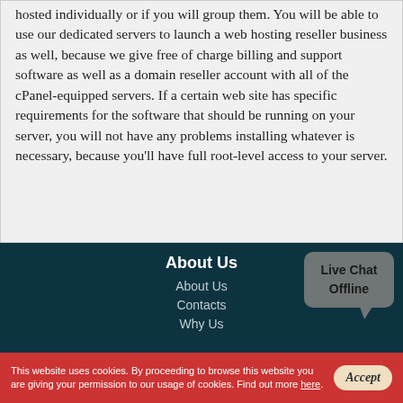hosted individually or if you will group them. You will be able to use our dedicated servers to launch a web hosting reseller business as well, because we give free of charge billing and support software as well as a domain reseller account with all of the cPanel-equipped servers. If a certain web site has specific requirements for the software that should be running on your server, you will not have any problems installing whatever is necessary, because you'll have full root-level access to your server.
About Us
About Us
Contacts
Why Us
[Figure (other): Live Chat Offline button box in dark grey with rounded corners and a speech bubble tail]
This website uses cookies. By proceeding to browse this website you are giving your permission to our usage of cookies. Find out more here.